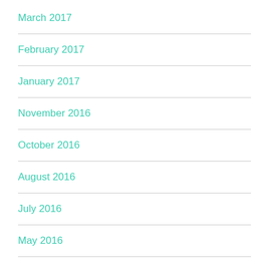March 2017
February 2017
January 2017
November 2016
October 2016
August 2016
July 2016
May 2016